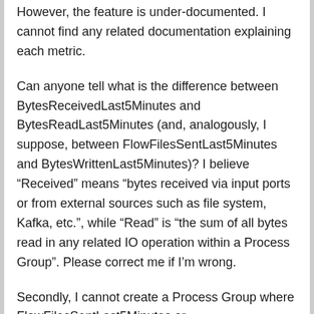However, the feature is under-documented. I cannot find any related documentation explaining each metric.
Can anyone tell what is the difference between BytesReceivedLast5Minutes and BytesReadLast5Minutes (and, analogously, I suppose, between FlowFilesSentLast5Minutes and BytesWrittenLast5Minutes)? I believe “Received” means “bytes received via input ports or from external sources such as file system, Kafka, etc.”, while “Read” is “the sum of all bytes read in any related IO operation within a Process Group”. Please correct me if I’m wrong.
Secondly, I cannot create a Process Group where FlowFilesSentLast5Minutes or FlowFilesSentLast5Minutes is not equal to 0. Can